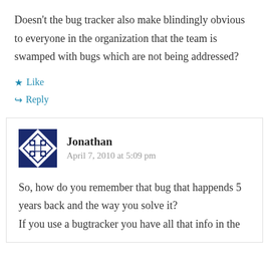Doesn't the bug tracker also make blindingly obvious to everyone in the organization that the team is swamped with bugs which are not being addressed?
★ Like
↪ Reply
Jonathan
April 7, 2010 at 5:09 pm
So, how do you remember that bug that happends 5 years back and the way you solve it?
If you use a bugtracker you have all that info in the